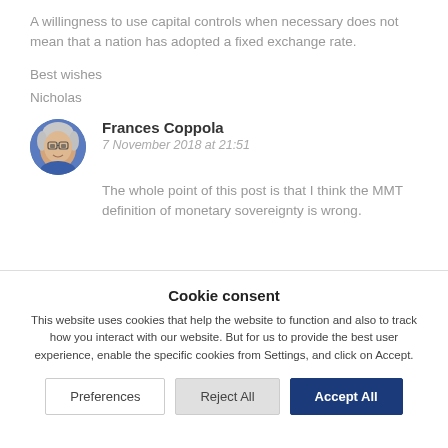A willingness to use capital controls when necessary does not mean that a nation has adopted a fixed exchange rate.
Best wishes
Nicholas
Frances Coppola
7 November 2018 at 21:51
The whole point of this post is that I think the MMT definition of monetary sovereignty is wrong.
Cookie consent
This website uses cookies that help the website to function and also to track how you interact with our website. But for us to provide the best user experience, enable the specific cookies from Settings, and click on Accept.
Preferences
Reject All
Accept All